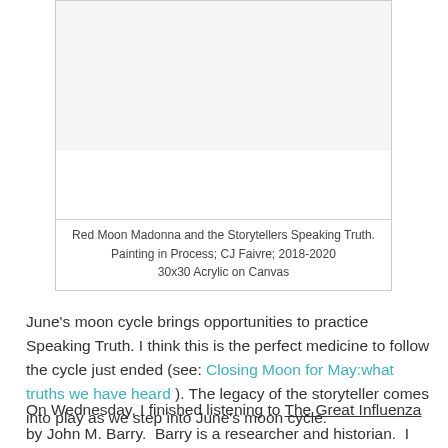[Figure (illustration): Painting in process - Red Moon Madonna and the Storytellers Speaking Truth, white/blank area shown as work in progress]
Red Moon Madonna and the Storytellers Speaking Truth.
Painting in Process; CJ Faivre; 2018-2020
30x30 Acrylic on Canvas
June's moon cycle brings opportunities to practice Speaking Truth. I think this is the perfect medicine to follow the cycle just ended (see: Closing Moon for May:what truths we have heard ). The legacy of the storyteller comes into play as we step into June's moon cycle.
On Wednesday, I finished listening to The Great Influenza by John M. Barry. Barry is a researcher and historian. I don't